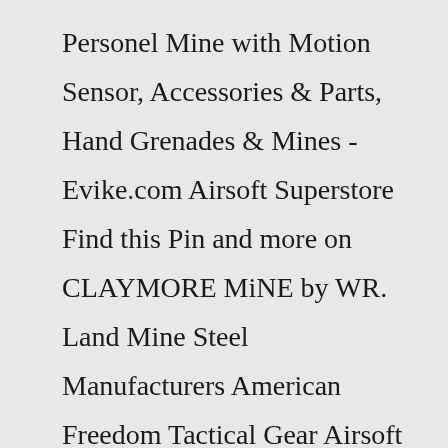Personel Mine with Motion Sensor, Accessories & Parts, Hand Grenades & Mines - Evike.com Airsoft Superstore Find this Pin and more on CLAYMORE MiNE by WR. Land Mine Steel Manufacturers American Freedom Tactical Gear Airsoft Really Cool Stuff Remote Product Launch CodingRBD markings on base plug , body and lever , $ 85.00 each plus post. US Mark 2 High Explosive Pineapple Grenade , resin